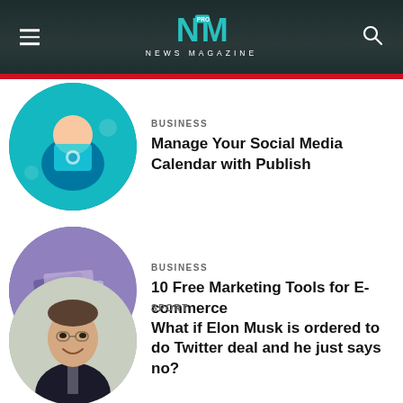NEWS MAGAZINE
[Figure (illustration): Article thumbnail: person with social media icons, teal background, circular crop]
BUSINESS
Manage Your Social Media Calendar with Publish
[Figure (photo): Article thumbnail: purple abstract image of books/folders, circular crop]
BUSINESS
10 Free Marketing Tools for E-commerce
[Figure (photo): Article thumbnail: Elon Musk smiling, circular crop]
SPORT
What if Elon Musk is ordered to do Twitter deal and he just says no?